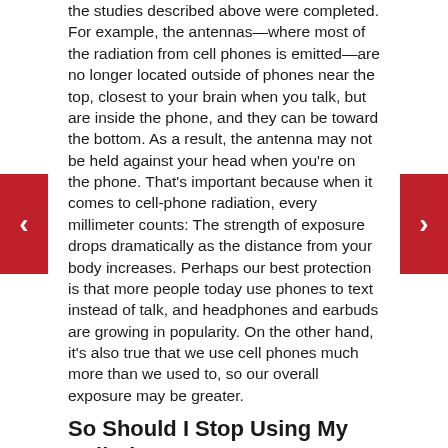the studies described above were completed. For example, the antennas—where most of the radiation from cell phones is emitted—are no longer located outside of phones near the top, closest to your brain when you talk, but are inside the phone, and they can be toward the bottom. As a result, the antenna may not be held against your head when you're on the phone. That's important because when it comes to cell-phone radiation, every millimeter counts: The strength of exposure drops dramatically as the distance from your body increases. Perhaps our best protection is that more people today use phones to text instead of talk, and headphones and earbuds are growing in popularity. On the other hand, it's also true that we use cell phones much more than we used to, so our overall exposure may be greater.
So Should I Stop Using My Cell Phone?
No, Consumer Reports does not think that's